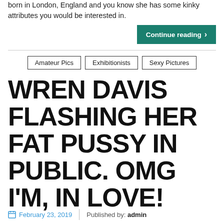born in London, England and you know she has some kinky attributes you would be interested in.
Continue reading >
Amateur Pics
Exhibitionists
Sexy Pictures
WREN DAVIS FLASHING HER FAT PUSSY IN PUBLIC. OMG I'M, IN LOVE!
February 23, 2019   Published by: admin